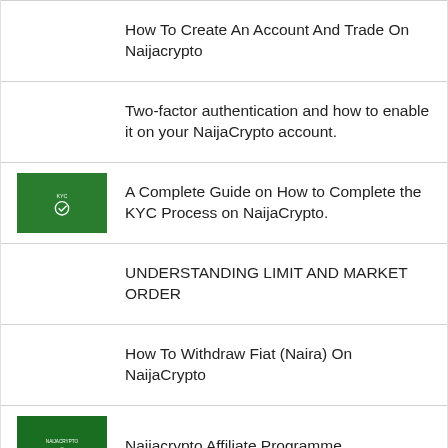How To Create An Account And Trade On Naijacrypto
Two-factor authentication and how to enable it on your NaijaCrypto account.
A Complete Guide on How to Complete the KYC Process on NaijaCrypto.
UNDERSTANDING LIMIT AND MARKET ORDER
How To Withdraw Fiat (Naira) On NaijaCrypto
Naijacrypto Affiliate Programme.
HOW TO DEPOSIT CRYPTOCURRENCIES ON NAIJACRYPTO
HOW TO WITHDRAW CRYPTOCURRENCIES